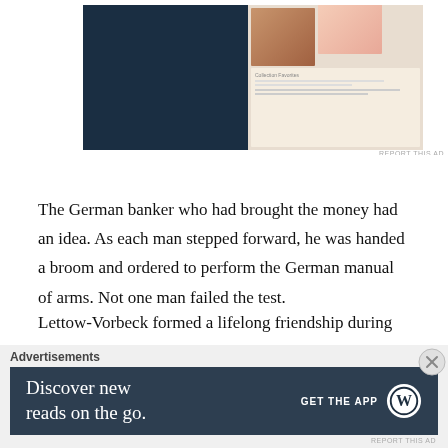[Figure (screenshot): Top advertisement banner showing a dark navy background with screenshots of a website featuring product/fashion images and a form interface on the right side. 'REPORT THIS AD' text below.]
The German banker who had brought the money had an idea. As each man stepped forward, he was handed a broom and ordered to perform the German manual of arms. Not one man failed the test.
Lettow-Vorbeck formed a lifelong friendship during his time in Africa, with the Danish author Karen Blixen, best known by her pen name Isak Dinesen, author of “Out of Africa”. Years later, Blixen recalled, “He belonged to the olden days, and I
Advertisements
[Figure (screenshot): WordPress app advertisement banner with dark navy background. Left text: 'Discover new reads on the go.' Right side: 'GET THE APP' with WordPress logo circle.]